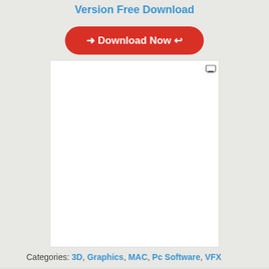Version Free Download
→ Download Now ←
[Figure (other): White advertisement box with a small icon in the top-right corner]
Categories: 3D, Graphics, MAC, Pc Software, VFX